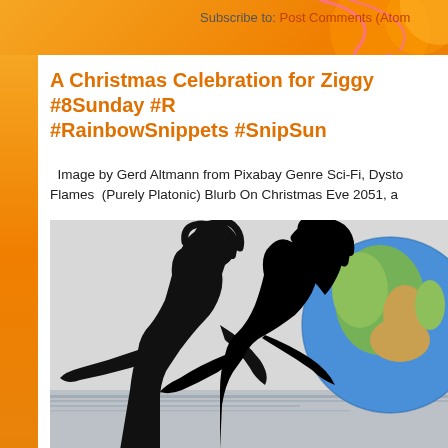Subscribe to: Post Comments (Atom)
A Christmas Celebration for Ziggy #8Sunday #RainbowSnippets #SnipSun
Image by Gerd Altmann from Pixabay Genre Sci-Fi, Dysto... Flames (Purely Platonic) Blurb On Christmas Eve 2051, a
[Figure (photo): Silhouette of two people with curly hair against a light background with a globe/Earth visible on the right side, with water reflection at bottom]